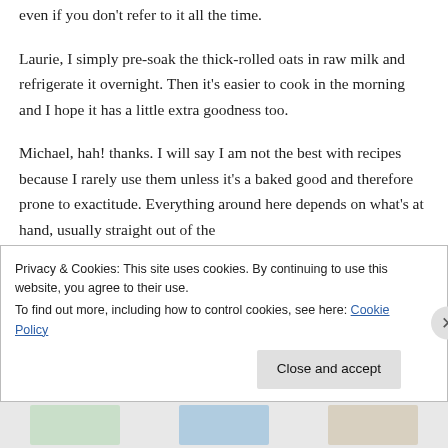even if you don't refer to it all the time.
Laurie, I simply pre-soak the thick-rolled oats in raw milk and refrigerate it overnight. Then it's easier to cook in the morning and I hope it has a little extra goodness too.
Michael, hah! thanks. I will say I am not the best with recipes because I rarely use them unless it's a baked good and therefore prone to exactitude. Everything around here depends on what's at hand, usually straight out of the
Privacy & Cookies: This site uses cookies. By continuing to use this website, you agree to their use.
To find out more, including how to control cookies, see here: Cookie Policy
Close and accept